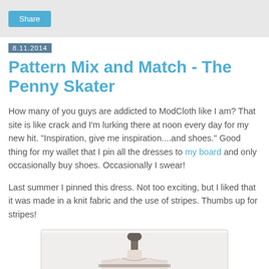Share
8.11.2014
Pattern Mix and Match - The Penny Skater
How many of you guys are addicted to ModCloth like I am? That site is like crack and I'm lurking there at noon every day for my new hit.  "Inspiration, give me inspiration....and shoes."  Good thing for my wallet that I pin all the dresses to my board and only occasionally buy shoes. Occasionally I swear!
Last summer I pinned this dress.  Not too exciting, but I liked that it was made in a knit fabric and the use of stripes.  Thumbs up for stripes!
[Figure (photo): A dress on a mannequin/dress form, showing a striped knit fabric dress, partial view cropped at the neckline/bust area.]